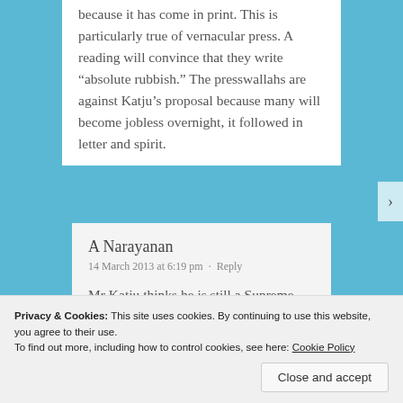because it has come in print. This is particularly true of vernacular press. A reading will convince that they write “absolute rubbish.” The presswallahs are against Katju’s proposal because many will become jobless overnight, it followed in letter and spirit.
A Narayanan
14 March 2013 at 6:19 pm · Reply
Mr Katju thinks he is still a Supreme
Privacy & Cookies: This site uses cookies. By continuing to use this website, you agree to their use.
To find out more, including how to control cookies, see here: Cookie Policy